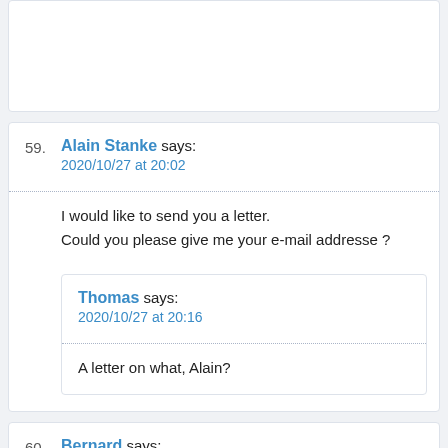(partial previous comment block at top)
59. Alain Stanke says:
2020/10/27 at 20:02
I would like to send you a letter.
Could you please give me your e-mail addresse ?
Thomas says:
2020/10/27 at 20:16
A letter on what, Alain?
60. Bernard says:
2020/11/09 at 13:13